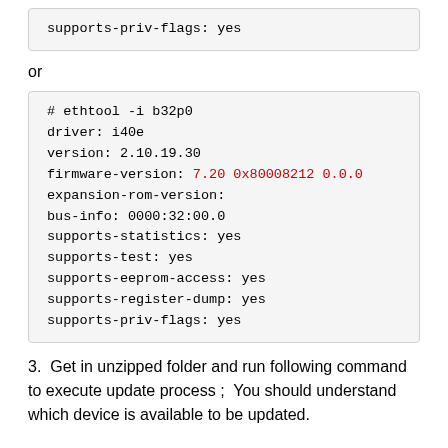supports-priv-flags: yes
or
# ethtool -i b32p0
driver: i40e
version: 2.10.19.30
firmware-version: 7.20 0x80008212 0.0.0
expansion-rom-version:
bus-info: 0000:32:00.0
supports-statistics: yes
supports-test: yes
supports-eeprom-access: yes
supports-register-dump: yes
supports-priv-flags: yes
3.  Get in unzipped folder and run following command to execute update process ;  You should understand which device is available to be updated.